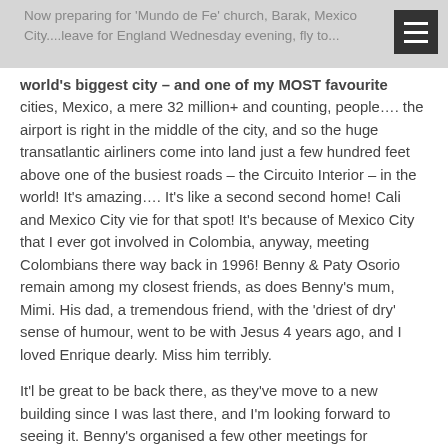Now preparing for 'Mundo de Fe' church, Barak, Mexico City....leave for England Wednesday evening, fly to...
world's biggest city – and one of my MOST favourite cities, Mexico, a mere 32 million+ and counting, people…. the airport is right in the middle of the city, and so the huge transatlantic airliners come into land just a few hundred feet above one of the busiest roads – the Circuito Interior – in the world! It's amazing…. It's like a second second home! Cali and Mexico City vie for that spot! It's because of Mexico City that I ever got involved in Colombia, anyway, meeting Colombians there way back in 1996! Benny & Paty Osorio remain among my closest friends, as does Benny's mum, Mimi. His dad, a tremendous friend, with the 'driest of dry' sense of humour, went to be with Jesus 4 years ago, and I loved Enrique dearly. Miss him terribly.

It'l be great to be back there, as they've move to a new building since I was last there, and I'm looking forward to seeing it. Benny's organised a few other meetings for